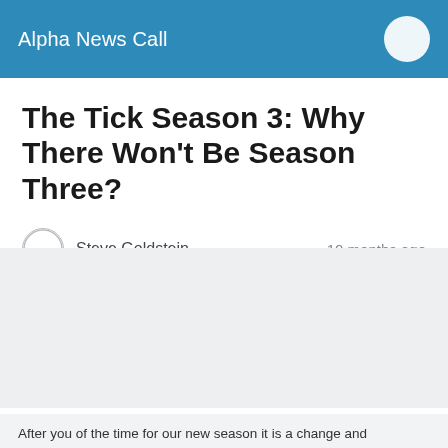Alpha News Call
The Tick Season 3: Why There Won't Be Season Three?
Steve Goldstein   10 months ago
After you of the time for our new season it is a change and